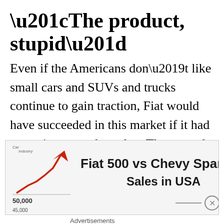“The product, stupid”
Even if the Americans don’t like small cars and SUVs and trucks continue to gain traction, Fiat would have succeeded in this market if it had a consistent product plan. The second generation of the Fiat 500 should have arrived at least in 2014 and one year later in USA.
[Figure (infographic): Advertisement graphic showing a red upward arrow chart labeled 'Car Industry' with text 'Fiat 500 vs Chevy Spark Sales in USA' and a y-axis label of 50,000]
Advertisements